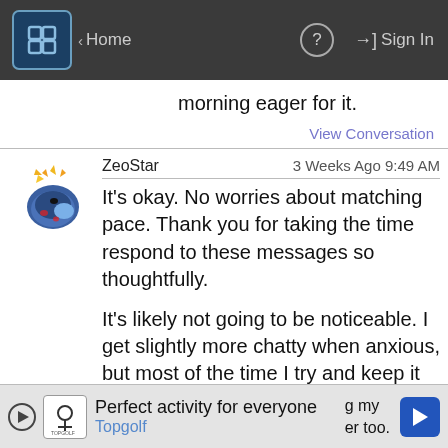Home | ? | Sign In
morning eager for it.
View Conversation
ZeoStar  3 Weeks Ago 9:49 AM
It's okay. No worries about matching pace. Thank you for taking the time respond to these messages so thoughtfully.

It's likely not going to be noticeable. I get slightly more chatty when anxious, but most of the time I try and keep it internalized so I don't strain the other person. Been doing okay at conversing, but a complete oaf at 'being a friend'. Had a couple instances of somebody wanting to do an activity, suddenly
Perfect activity for everyone  Topgolf